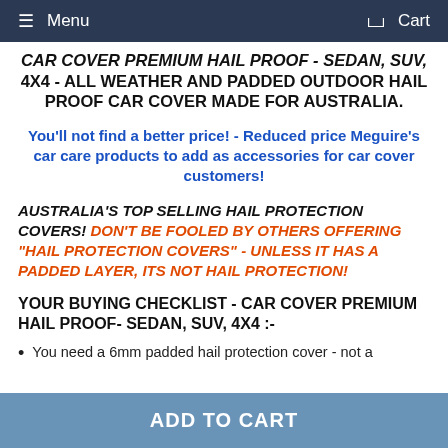Menu   Cart
CAR COVER PREMIUM HAIL PROOF - SEDAN, SUV, 4X4 - ALL WEATHER AND PADDED OUTDOOR HAIL PROOF CAR COVER MADE FOR AUSTRALIA.
You'll not find a better price! - Reduced price Meguire's car care products to add as accessories for car cover customers!
AUSTRALIA'S TOP SELLING HAIL PROTECTION COVERS! DON'T BE FOOLED BY OTHERS OFFERING "HAIL PROTECTION COVERS" - UNLESS IT HAS A PADDED LAYER, ITS NOT HAIL PROTECTION!
YOUR BUYING CHECKLIST - CAR COVER PREMIUM HAIL PROOF- SEDAN, SUV, 4X4 :-
You need a 6mm padded hail protection cover - not a
ADD TO CART